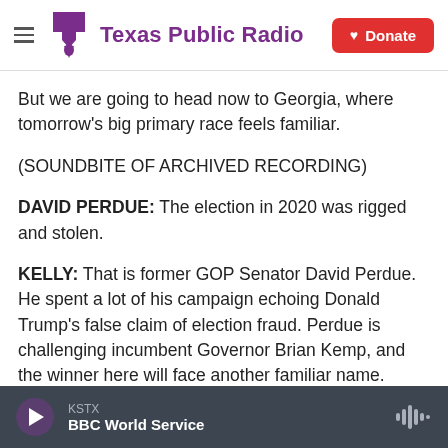Texas Public Radio | Donate
But we are going to head now to Georgia, where tomorrow's big primary race feels familiar.
(SOUNDBITE OF ARCHIVED RECORDING)
DAVID PERDUE: The election in 2020 was rigged and stolen.
KELLY: That is former GOP Senator David Perdue. He spent a lot of his campaign echoing Donald Trump's false claim of election fraud. Perdue is challenging incumbent Governor Brian Kemp, and the winner here will face another familiar name.
KSTX  BBC World Service